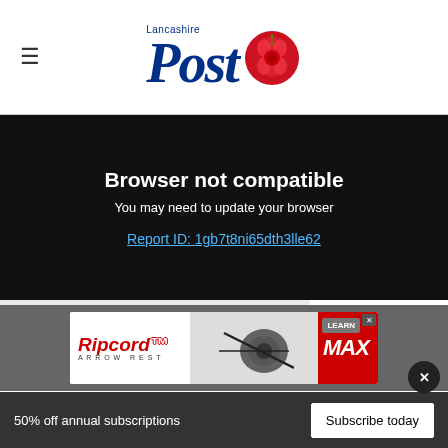Lancashire Post
Browser not compatible
You may need to update your browser
Report ID: 1gb7t8ni65dth3lle62
Advertisement
heir
op for
ress
[Figure (other): Ripcord Arrow Rest MAX advertisement banner]
UK
l aspect,
50% off annual subscriptions
Subscribe today